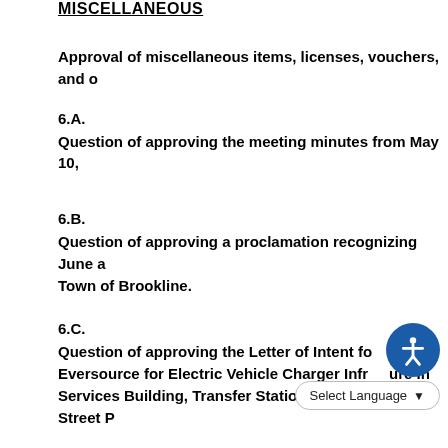MISCELLANEOUS
Approval of miscellaneous items, licenses, vouchers, and o[ther]
6.A.
Question of approving the meeting minutes from May 10,
6.B.
Question of approving a proclamation recognizing June a[s ...] Town of Brookline.
6.C.
Question of approving the Letter of Intent fo[r] [be]n th[e] Eversource for Electric Vehicle Charger Infr[astr]ure In[stallation at] Services Building, Transfer Station, and Webster Street P[...]
6.D.